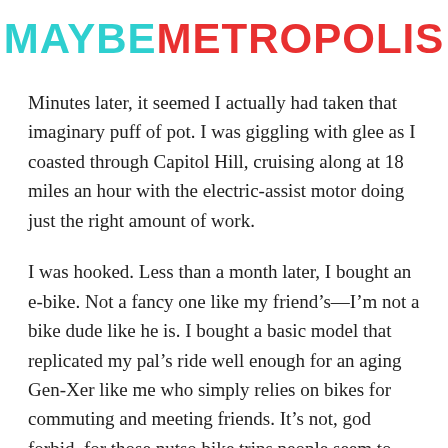MAYBEMETROPOLIS
Minutes later, it seemed I actually had taken that imaginary puff of pot. I was giggling with glee as I coasted through Capitol Hill, cruising along at 18 miles an hour with the electric-assist motor doing just the right amount of work.
I was hooked. Less than a month later, I bought an e-bike. Not a fancy one like my friend’s—I’m not a bike dude like he is. I bought a basic model that replicated my pal’s ride well enough for an aging Gen-Xer like me who simply relies on bikes for commuting and meeting friends. It’s not, god forbid, for those nutso bike trips people seem to take all over the Pacific Northwest. I bought the bike from Rad Power Bikes